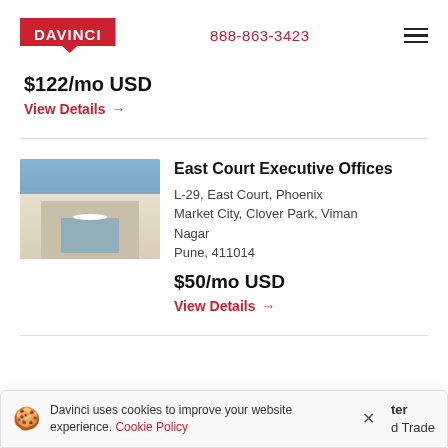DAVINCI | 888-863-3423
$122/mo USD
View Details →
East Court Executive Offices
[Figure (photo): Photo of East Court Executive Offices building exterior with glass entrance and signage]
L-29, East Court, Phoenix Market City, Clover Park, Viman Nagar
Pune, 411014
$50/mo USD
View Details →
Davinci uses cookies to improve your website experience. Cookie Policy
ter
d Trade